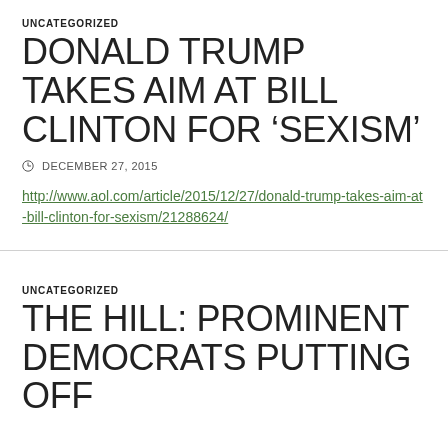UNCATEGORIZED
DONALD TRUMP TAKES AIM AT BILL CLINTON FOR ‘SEXISM’
○ DECEMBER 27, 2015
http://www.aol.com/article/2015/12/27/donald-trump-takes-aim-at-bill-clinton-for-sexism/21288624/
UNCATEGORIZED
THE HILL: PROMINENT DEMOCRATS PUTTING OFF